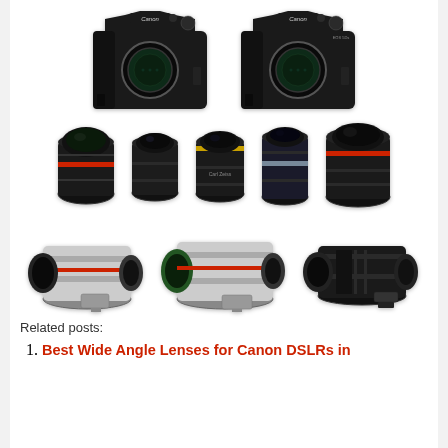[Figure (photo): Two Canon DSLR camera bodies (front view, no lens) shown side by side in top row, followed by a row of five lenses (wide angle fisheye, prime, Zeiss prime, telephoto prime, wide zoom), then a row of three telephoto zoom lenses (two white Canon L-series, one black Sigma Sport)]
Related posts:
Best Wide Angle Lenses for Canon DSLRs in